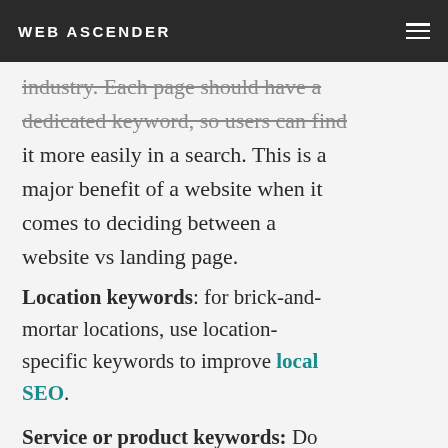WEB ASCENDER
industry. Each page should have a dedicated keyword, so users can find it more easily in a search. This is a major benefit of a website when it comes to deciding between a website vs landing page.
Location keywords: for brick-and-mortar locations, use location-specific keywords to improve local SEO.
Service or product keywords: Do your research to find out what queries potential customers use to find